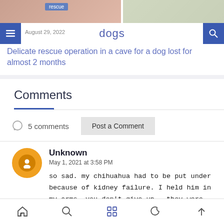[Figure (screenshot): Top image strip showing a dog rescue scene with two photo thumbnails and a 'rescue' label tag]
dogs
August 29, 2022
Delicate rescue operation in a cave for a dog lost for almost 2 months
Comments
5 comments
Post a Comment
Unknown
May 1, 2021 at 3:58 PM
so sad. my chihuahua had to be put under because of kidney failure. I held him in my arms. you don't give up.. they were there when we were hurting
reply
delete
Navigation bar with home, search, grid, moon, and up-arrow icons